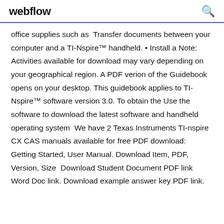webflow
office supplies such as  Transfer documents between your computer and a TI-Nspire™ handheld. • Install a Note: Activities available for download may vary depending on your geographical region. A PDF verion of the Guidebook opens on your desktop. This guidebook applies to TI-Nspire™ software version 3.0. To obtain the Use the software to download the latest software and handheld operating system  We have 2 Texas Instruments TI-nspire CX CAS manuals available for free PDF download: Getting Started, User Manual. Download Item, PDF, Version, Size  Download Student Document PDF link Word Doc link. Download example answer key PDF link.